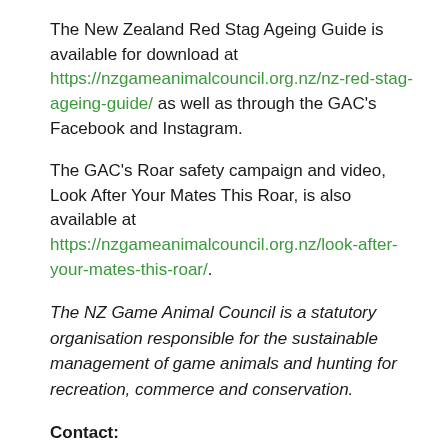The New Zealand Red Stag Ageing Guide is available for download at https://nzgameanimalcouncil.org.nz/nz-red-stag-ageing-guide/ as well as through the GAC's Facebook and Instagram.
The GAC's Roar safety campaign and video, Look After Your Mates This Roar, is also available at https://nzgameanimalcouncil.org.nz/look-after-your-mates-this-roar/.
The NZ Game Animal Council is a statutory organisation responsible for the sustainable management of game animals and hunting for recreation, commerce and conservation.
Contact: Tim Gale, General Manager Phone: 021 688 531 tim.gale@nzgac.org.nz